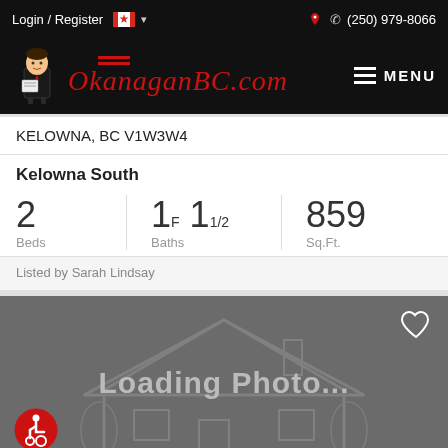Login / Register  (250) 979-8066
[Figure (logo): OkanaganBC.com logo with mascot character and navigation menu button]
KELOWNA, BC V1W3W4
Kelowna South
2 Beds  1F 11/2 Baths  859 Sq.Ft.
Listed by Sarah Lindsay
[Figure (photo): Loading Photo... placeholder image with house silhouette outline, heart icon top right, wheelchair accessibility icon bottom left]